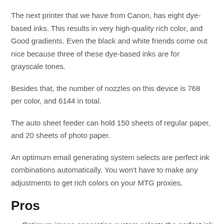The next printer that we have from Canon, has eight dye-based inks. This results in very high-quality rich color, and Good gradients. Even the black and white friends come out nice because three of these dye-based inks are for grayscale tones.
Besides that, the number of nozzles on this device is 768 per color, and 6144 in total.
The auto sheet feeder can hold 150 sheets of regular paper, and 20 sheets of photo paper.
An optimum email generating system selects are perfect ink combinations automatically. You won’t have to make any adjustments to get rich colors on your MTG proxies.
Pros
Optimum image generating system selects the perfect ink